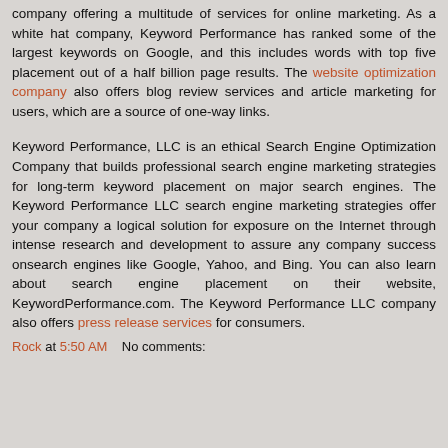company offering a multitude of services for online marketing. As a white hat company, Keyword Performance has ranked some of the largest keywords on Google, and this includes words with top five placement out of a half billion page results. The website optimization company also offers blog review services and article marketing for users, which are a source of one-way links.
Keyword Performance, LLC is an ethical Search Engine Optimization Company that builds professional search engine marketing strategies for long-term keyword placement on major search engines. The Keyword Performance LLC search engine marketing strategies offer your company a logical solution for exposure on the Internet through intense research and development to assure any company success onsearch engines like Google, Yahoo, and Bing. You can also learn about search engine placement on their website, KeywordPerformance.com. The Keyword Performance LLC company also offers press release services for consumers.
Rock at 5:50 AM    No comments: